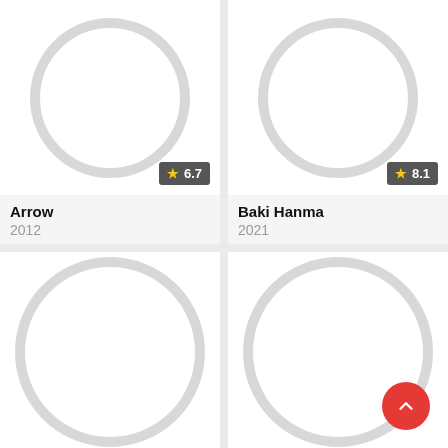[Figure (screenshot): App card for Arrow (2012) showing placeholder circle image and rating badge 6.7 with star]
Arrow
2012
[Figure (screenshot): App card for Baki Hanma (2021) showing placeholder circle image and rating badge 8.1 with star]
Baki Hanma
2021
[Figure (screenshot): App card (bottom left) showing placeholder circle image, title and year cut off]
[Figure (screenshot): App card (bottom right) showing placeholder circle image, title and year cut off]